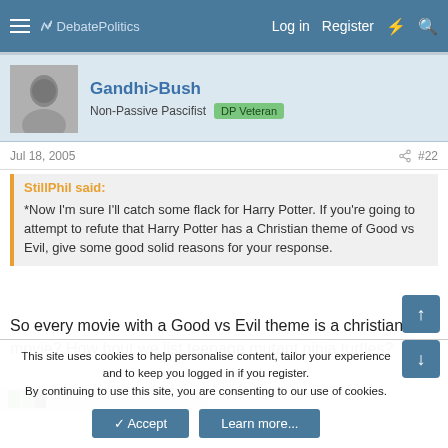DebatePolitics — Log in  Register
Gandhi>Bush
Non-Passive Pascifist  DP Veteran
Jul 18, 2005  #22
StillPhil said:
*Now I'm sure I'll catch some flack for Harry Potter. If you're going to attempt to refute that Harry Potter has a Christian theme of Good vs Evil, give some good solid reasons for your response.
So every movie with a Good vs Evil theme is a christian movie? How bout we list teenage mutant ninja turtles?
This site uses cookies to help personalise content, tailor your experience and to keep you logged in if you register.
By continuing to use this site, you are consenting to our use of cookies.
Accept  Learn more...